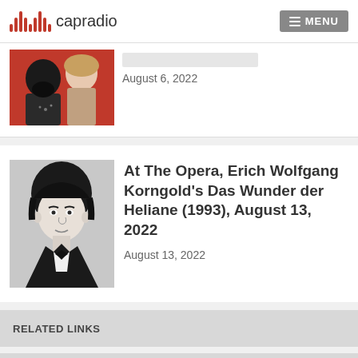capradio | MENU
[Figure (photo): Partial view of two opera performers - a bearded man and a woman, appearing to be in costume]
August 6, 2022
[Figure (photo): Black and white portrait photograph of Erich Wolfgang Korngold]
At The Opera, Erich Wolfgang Korngold's Das Wunder der Heliane (1993), August 13, 2022
August 13, 2022
RELATED LINKS
SHOW ARCHIVE ∨